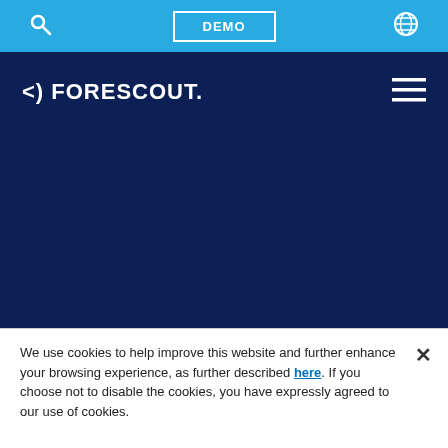DEMO
[Figure (logo): Forescout logo with text '<) FORESCOUT.' in white on dark navy background]
[Figure (illustration): Dark navy hero/banner area with no visible content]
We use cookies to help improve this website and further enhance your browsing experience, as further described here. If you choose not to disable the cookies, you have expressly agreed to our use of cookies.